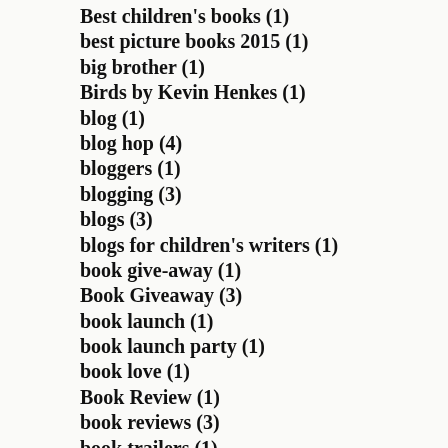Best children's books (1)
best picture books 2015 (1)
big brother (1)
Birds by Kevin Henkes (1)
blog (1)
blog hop (4)
bloggers (1)
blogging (3)
blogs (3)
blogs for children's writers (1)
book give-away (1)
Book Giveaway (3)
book launch (1)
book launch party (1)
book love (1)
Book Review (1)
book reviews (3)
book trailers (1)
BookExpo America (1)